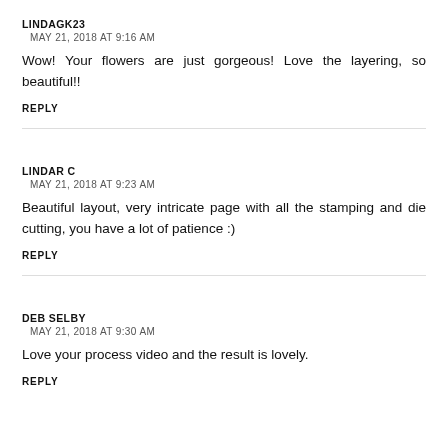LINDAGK23
MAY 21, 2018 AT 9:16 AM
Wow! Your flowers are just gorgeous! Love the layering, so beautiful!!
REPLY
LINDAR C
MAY 21, 2018 AT 9:23 AM
Beautiful layout, very intricate page with all the stamping and die cutting, you have a lot of patience :)
REPLY
DEB SELBY
MAY 21, 2018 AT 9:30 AM
Love your process video and the result is lovely.
REPLY